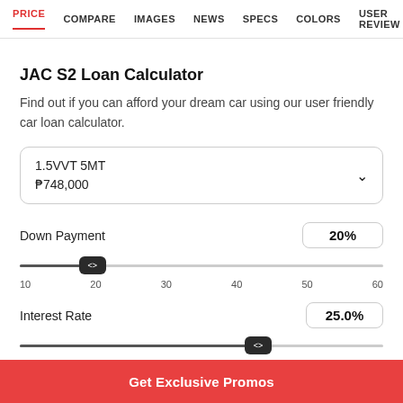PRICE  COMPARE  IMAGES  NEWS  SPECS  COLORS  USER REVIEW
JAC S2 Loan Calculator
Find out if you can afford your dream car using our user friendly car loan calculator.
1.5VVT 5MT
₱748,000
Down Payment  20%
Interest Rate  25.0%
Get Exclusive Promos